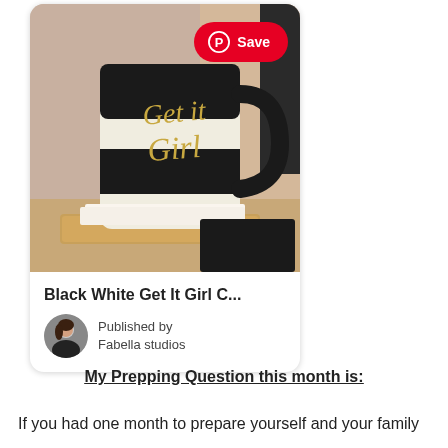[Figure (photo): Pinterest card showing a black and white striped coffee mug with gold cursive text reading 'Get it Girl', placed on a wooden tray on a desk. A red Pinterest Save button is overlaid in the top right of the image. Below the photo, the card shows the title 'Black White Get It Girl C...' and author info 'Published by Fabella studios' with a small avatar photo.]
My Prepping Question this month is:
If you had one month to prepare yourself and your family